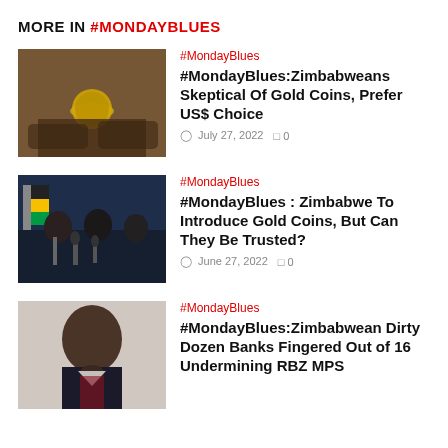MORE IN #MONDAYBLUES
[Figure (photo): Close-up of hands holding a gold coin]
#MondayBlues
#MondayBlues:Zimbabweans Skeptical Of Gold Coins, Prefer US$ Choice
July 27, 2022  0
[Figure (photo): Officials sitting at a press conference with microphones and flags]
#MondayBlues
#MondayBlues : Zimbabwe To Introduce Gold Coins, But Can They Be Trusted?
June 27, 2022  0
[Figure (photo): Portrait of a man in a suit speaking]
#MondayBlues
#MondayBlues:Zimbabwean Dirty Dozen Banks Fingered Out of 16 Undermining RBZ MPS